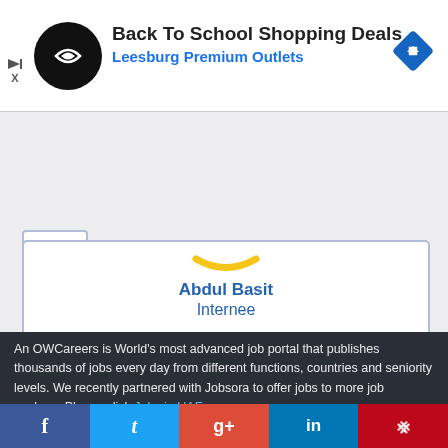[Figure (screenshot): Advertisement banner for Back To School Shopping Deals at Leesburg Premium Outlets with circular logo and blue navigation icon]
Abdul Basit
Internee

OWCareers has the best working environment and lots of learning stuff that will help me in future.
An OWCareers is World's most advanced job portal that publishes thousands of jobs every day from different functions, countries and seniority levels. We recently partnered with Jobsora to offer jobs to more job seekers. Please click Jobs in UAE .
[Figure (screenshot): Social media sharing bar with Facebook, Twitter, Google+, LinkedIn, and Pinterest buttons]